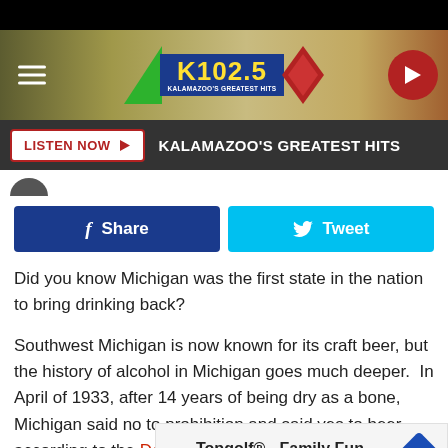[Figure (screenshot): K102.5 radio station website header with logo, hamburger menu, and play button]
LISTEN NOW  KALAMAZOO'S GREATEST HITS
[Figure (other): Facebook Share and Twitter Tweet buttons]
Did you know Michigan was the first state in the nation to bring drinking back?
Southwest Michigan is now known for its craft beer, but the history of alcohol in Michigan goes much deeper.  In April of 1933, after 14 years of being dry as a bone, Michigan said no to prohibition and said yes to beer according to the Detroit Histori
[Figure (screenshot): Advertisement overlay: Topgolf® - Family Fun, Topgolf, with navigation icon]